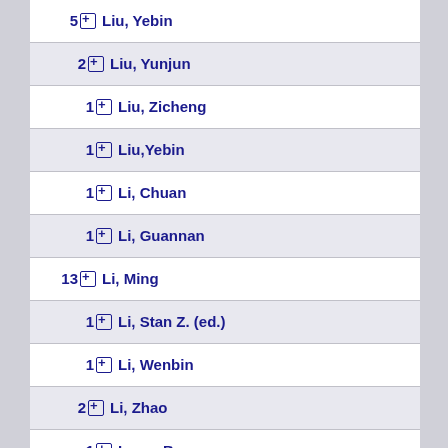5 Liu, Yebin
2 Liu, Yunjun
1 Liu, Zicheng
1 Liu,Yebin
1 Li, Chuan
1 Li, Guannan
13 Li, Ming
1 Li, Stan Z. (ed.)
1 Li, Wenbin
2 Li, Zhao
1 Long, Ben
1 Lopez-Moreno, Jorge
1 Ludema, Marcel (ed.)
1 Lukac, Ratislav (ed.)
1 Lürig, Christoph
1 Lu, Qifeng
1 Lyche, Tom
7 Lyche, Tom (ed.)
1 Mache, D. H. (ed.)
1 Machiraju, Raghu (ed.)
1 Machiraju, R. (ed.)
1 Macho, Volker (ed.)